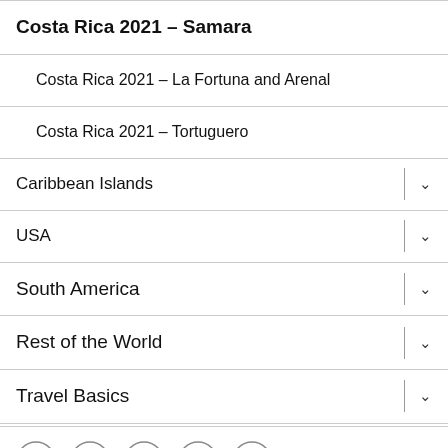Costa Rica 2021 – Samara
Costa Rica 2021 – La Fortuna and Arenal
Costa Rica 2021 – Tortuguero
Caribbean Islands
USA
South America
Rest of the World
Travel Basics
[Figure (infographic): Social media icons: Twitter, Facebook, Google+, GitHub, WordPress]